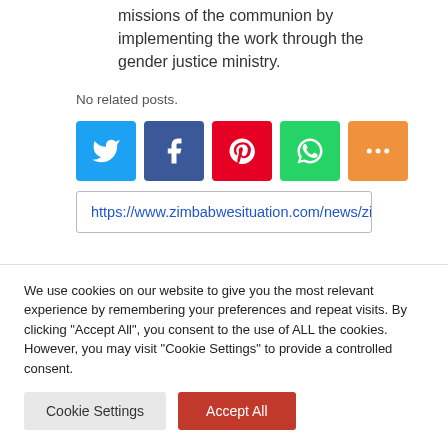missions of the communion by implementing the work through the gender justice ministry.
No related posts.
[Figure (other): Social sharing icons: Twitter (blue), Facebook (dark blue), Pinterest (red), WhatsApp (green), More (orange)]
https://www.zimbabwesituation.com/news/zimbab
We use cookies on our website to give you the most relevant experience by remembering your preferences and repeat visits. By clicking "Accept All", you consent to the use of ALL the cookies. However, you may visit "Cookie Settings" to provide a controlled consent.
Cookie Settings    Accept All